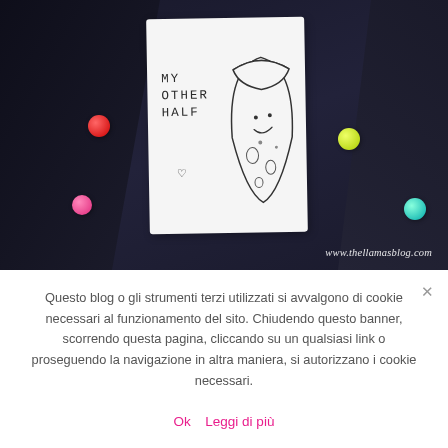[Figure (photo): Photo of a dark navy cardigan with colorful pom pom buttons (red, pink, yellow/green, mint/teal) worn over a white t-shirt printed with 'MY OTHER HALF' text and a pizza slice illustration. Watermark reads www.thellamasblog.com]
Questo blog o gli strumenti terzi utilizzati si avvalgono di cookie necessari al funzionamento del sito. Chiudendo questo banner, scorrendo questa pagina, cliccando su un qualsiasi link o proseguendo la navigazione in altra maniera, si autorizzano i cookie necessari.
Ok   Leggi di più